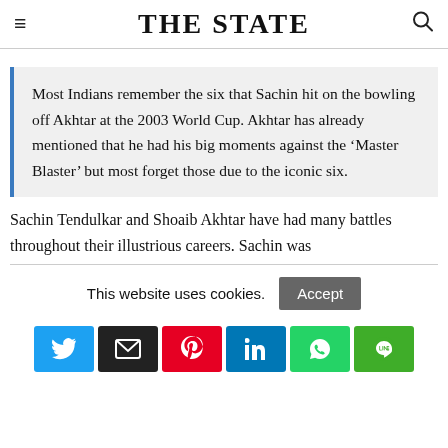THE STATE
Most Indians remember the six that Sachin hit on the bowling off Akhtar at the 2003 World Cup. Akhtar has already mentioned that he had his big moments against the ‘Master Blaster’ but most forget those due to the iconic six.
Sachin Tendulkar and Shoaib Akhtar have had many battles throughout their illustrious careers. Sachin was
This website uses cookies.
[Figure (infographic): Social sharing buttons: Twitter (blue), Email (black), Pinterest (red), LinkedIn (blue), WhatsApp (green), Line (green)]